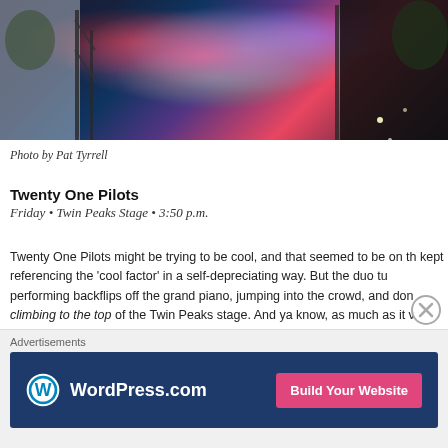[Figure (photo): Concert stage photo with colorful geometric/abstract graphic display backdrop, dark stage structure and scaffolding visible, nighttime outdoor festival setting]
Photo by Pat Tyrrell
Twenty One Pilots
Friday • Twin Peaks Stage • 3:50 p.m.
Twenty One Pilots might be trying to be cool, and that seemed to be on th kept referencing the 'cool factor' in a self-depreciating way. But the duo tu performing backflips off the grand piano, jumping into the crowd, and don climbing to the top of the Twin Peaks stage. And ya know, as much as it v cheese, the passion and musicianship these two young men exhibited tra thoughts. -MF
Advertisements
[Figure (screenshot): WordPress.com advertisement banner with dark blue background, WordPress logo on left, 'Build Your Website' pink button on right]